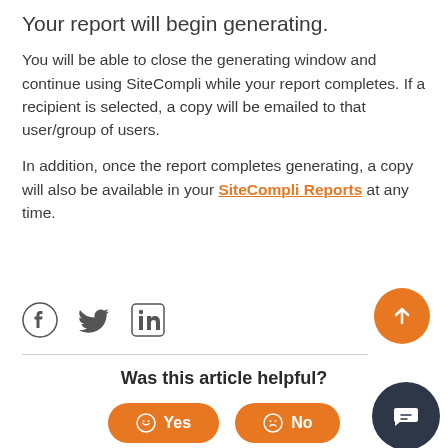Your report will begin generating.
You will be able to close the generating window and continue using SiteCompli while your report completes. If a recipient is selected, a copy will be emailed to that user/group of users.
In addition, once the report completes generating, a copy will also be available in your SiteCompli Reports at any time.
[Figure (infographic): Social media share icons: Facebook, Twitter, LinkedIn]
[Figure (infographic): Scroll to top button - orange circle with upward arrow]
Was this article helpful?
[Figure (infographic): Yes and No feedback buttons, orange rounded rectangles with smiley/frowny face icons]
[Figure (infographic): Chat bubble button - dark circle with speech bubble icon]